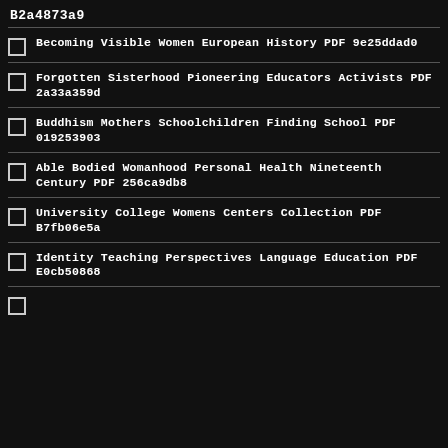B2a4873a9
Becoming Visible Women European History PDF 9e25ddad0
Forgotten Sisterhood Pioneering Educators Activists PDF 2a33a359d
Buddhism Mothers Schoolchildren Finding School PDF 019253903
Able Bodied Womanhood Personal Health Nineteenth Century PDF 256ca9db8
University College Womens Centers Collection PDF B7fb06e5a
Identity Teaching Perspectives Language Education PDF E0cb50868